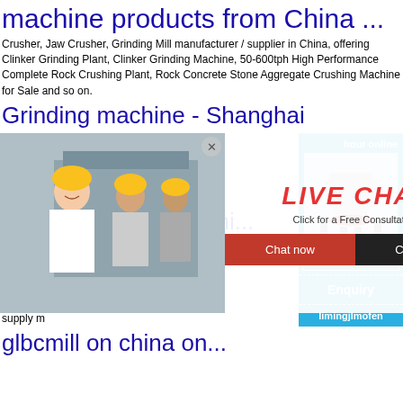machine products from China ...
Crusher, Jaw Crusher, Grinding Mill manufacturer / supplier in China, offering Clinker Grinding Plant, Clinker Grinding Machine, 50-600tph High Performance Complete Rock Crushing Plant, Rock Concrete Stone Aggregate Crushing Machine for Sale and so on.
Grinding machine - Shanghai Zenith M...
China Grinding... (XZM236, XZM... Making Stone...
[Figure (screenshot): Live chat popup overlay with a photo of workers in hard hats, LIVE CHAT text in red italic, 'Click for a Free Consultation' text, and Chat now / Chat later buttons]
[Figure (screenshot): Right sidebar widget with blue background, 'hour online' text, image of a cone crusher machine, 'Click me to chat>>' button, 'Enquiry' section, and 'limingjlmofen' text]
Mobile Grinding Machi... manufacturers ... - Mac...
Sourcing Guide for Mobile Grinding Machin... manufacturing industries are full of strong a... exporters. We are here to bring together Ch... supply m
glbcmill on china on...